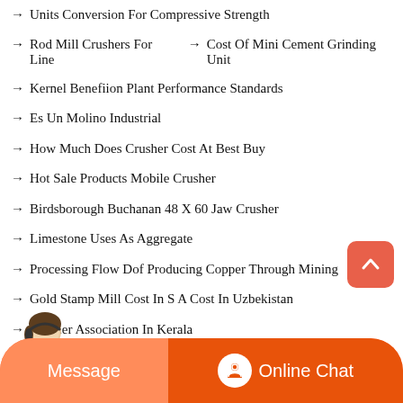→ Units Conversion For Compressive Strength
→ Rod Mill Crushers For Line   → Cost Of Mini Cement Grinding Unit
→ Kernel Benefiion Plant Performance Standards
→ Es Un Molino Industrial
→ How Much Does Crusher Cost At Best Buy
→ Hot Sale Products Mobile Crusher
→ Birdsborough Buchanan 48 X 60 Jaw Crusher
→ Limestone Uses As Aggregate
→ Processing Flow Dof Producing Copper Through Mining
→ Gold Stamp Mill Cost In S A Cost In Uzbekistan
→ Crusher Association In Kerala
→ Automatic Clay Brick Making Machine